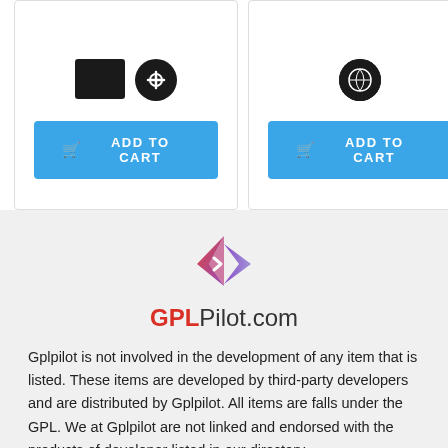[Figure (screenshot): Two product cards each with an 'ADD TO CART' button in blue]
[Figure (logo): GPLPilot.com logo with diamond/arrow icon in red-purple gradient and text GPLPilot.com]
Gplpilot is not involved in the development of any item that is listed. These items are developed by third-party developers and are distributed by Gplpilot. All items are falls under the GPL. We at Gplpilot are not linked and endorsed with the products of developer listed in our directory.